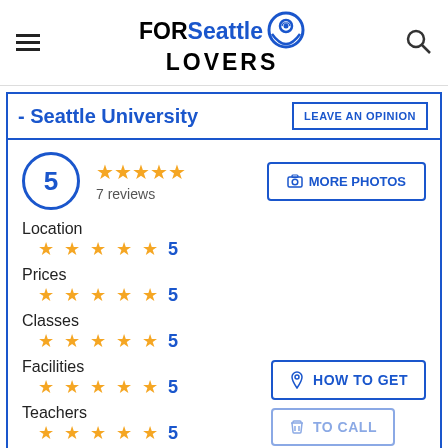FORSeattle LOVERS
- Seattle University
LEAVE AN OPINION
5
7 reviews
MORE PHOTOS
Location
★★★★★ 5
Prices
★★★★★ 5
Classes
★★★★★ 5
Facilities
★★★★★ 5
Teachers
★★★★★ 5
HOW TO GET